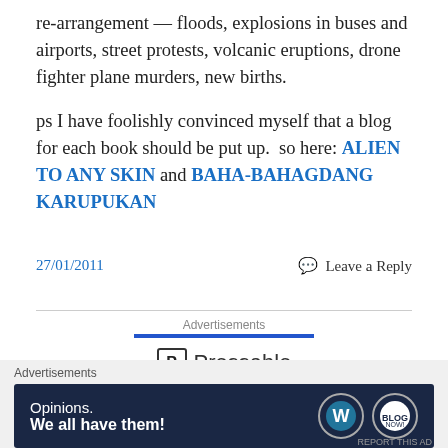re-arrangement — floods, explosions in buses and airports, street protests, volcanic eruptions, drone fighter plane murders, new births.
ps I have foolishly convinced myself that a blog for each book should be put up.  so here: ALIEN TO ANY SKIN and BAHA-BAHAGDANG KARUPUKAN
27/01/2011   💬 Leave a Reply
[Figure (screenshot): Advertisements banner with Pressable logo and dotted line below]
[Figure (screenshot): Bottom advertisement bar: Opinions. We all have them! with WordPress and other logos on dark blue background]